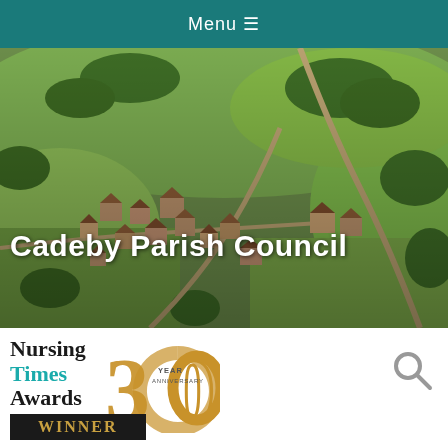Menu ☰
[Figure (photo): Aerial photograph of Cadeby village showing houses, roads, and surrounding green fields and trees]
Cadeby Parish Council
[Figure (logo): Nursing Times Awards 2020 30 Year Anniversary Winner logo with gold arc numeral 30 and teal/black typography, with search icon on right]